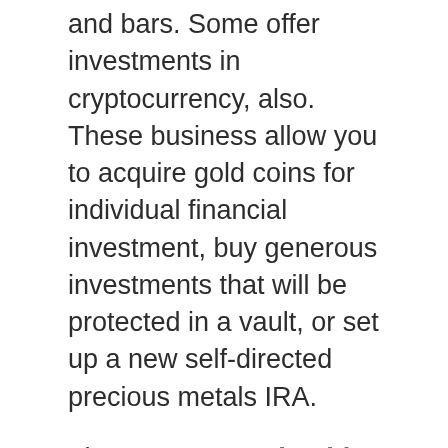and bars. Some offer investments in cryptocurrency, also. These business allow you to acquire gold coins for individual financial investment, buy generous investments that will be protected in a vault, or set up a new self-directed precious metals IRA.
There are several gold investment companies you can choose. Although competitors amongst these companies is beneficial for investors, it can show challenging to choose where to invest. Hence, in this article, we supply reviews of the very best gold & silver companies that use financial investments in precious metals. It will certainly make it simpler for you to choose a business that will certainly help you